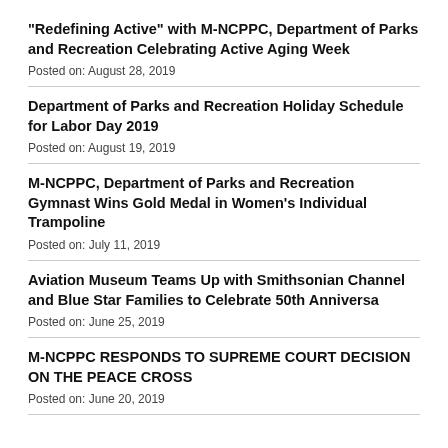“Redefining Active” with M-NCPPC, Department of Parks and Recreation Celebrating Active Aging Week
Posted on: August 28, 2019
Department of Parks and Recreation Holiday Schedule for Labor Day 2019
Posted on: August 19, 2019
M-NCPPC, Department of Parks and Recreation Gymnast Wins Gold Medal in Women’s Individual Trampoline
Posted on: July 11, 2019
Aviation Museum Teams Up with Smithsonian Channel and Blue Star Families to Celebrate 50th Anniversa
Posted on: June 25, 2019
M-NCPPC RESPONDS TO SUPREME COURT DECISION ON THE PEACE CROSS
Posted on: June 20, 2019